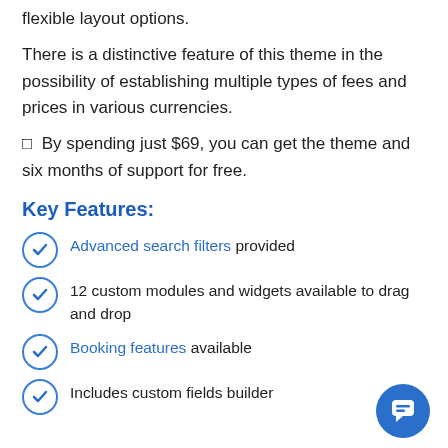flexible layout options.
There is a distinctive feature of this theme in the possibility of establishing multiple types of fees and prices in various currencies.
✓ By spending just $69, you can get the theme and six months of support for free.
Key Features:
Advanced search filters provided
12 custom modules and widgets available to drag and drop
Booking features available
Includes custom fields builder